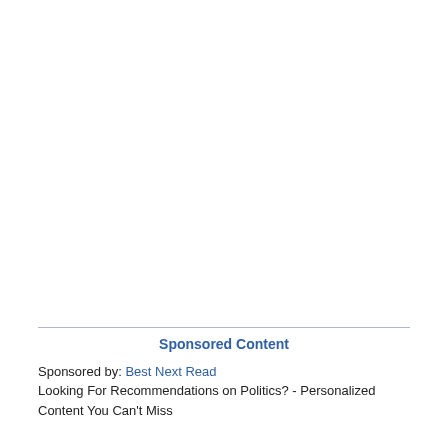Sponsored Content
Sponsored by: Best Next Read
Looking For Recommendations on Politics? - Personalized Content You Can't Miss